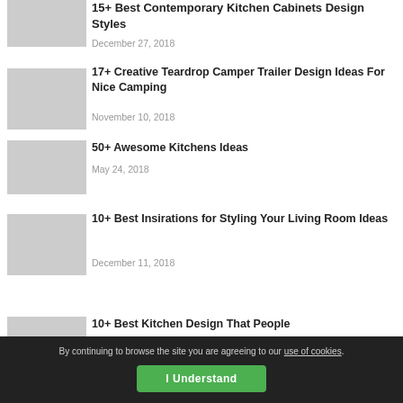15+ Best Contemporary Kitchen Cabinets Design Styles
December 27, 2018
17+ Creative Teardrop Camper Trailer Design Ideas For Nice Camping
November 10, 2018
50+ Awesome Kitchens Ideas
May 24, 2018
10+ Best Insirations for Styling Your Living Room Ideas
December 11, 2018
10+ Best Kitchen Design That People…
By continuing to browse the site you are agreeing to our use of cookies.
I Understand